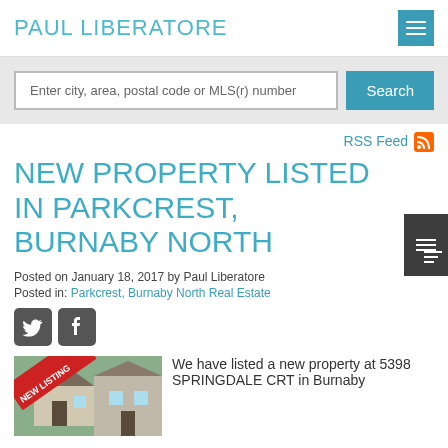PAUL LIBERATORE
Enter city, area, postal code or MLS(r) number
RSS Feed
NEW PROPERTY LISTED IN PARKCREST, BURNABY NORTH
Posted on January 18, 2017 by Paul Liberatore
Posted in: Parkcrest, Burnaby North Real Estate
[Figure (screenshot): Property photo with red banner overlay]
We have listed a new property at 5398 SPRINGDALE CRT in Burnaby